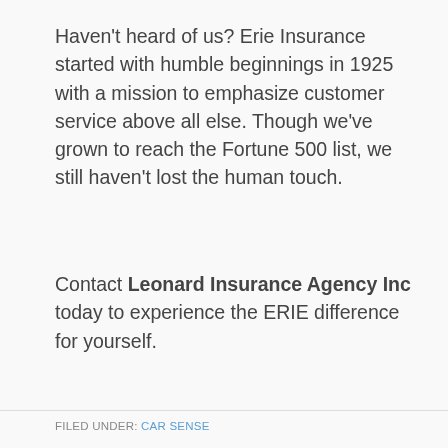Haven't heard of us? Erie Insurance started with humble beginnings in 1925 with a mission to emphasize customer service above all else. Though we've grown to reach the Fortune 500 list, we still haven't lost the human touch.
Contact Leonard Insurance Agency Inc today to experience the ERIE difference for yourself.
FILED UNDER: CAR SENSE